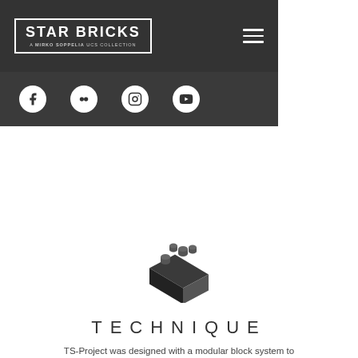STAR BRICKS — A MIRKO SOPPELIA UCS COLLECTION
[Figure (logo): Star Bricks logo with bordered box containing 'STAR BRICKS' text and subtitle 'A MIRKO SOPPELIA UCS COLLECTION', with hamburger menu icon on the right, on dark background]
[Figure (infographic): Row of four white circular social media icons (Facebook, Flickr, Instagram, YouTube) on dark gray background]
[Figure (illustration): Dark gray isometric LEGO brick / block icon with studs on top — Technique section logo]
TECHNIQUE
TS-Project was designed with a modular block system to